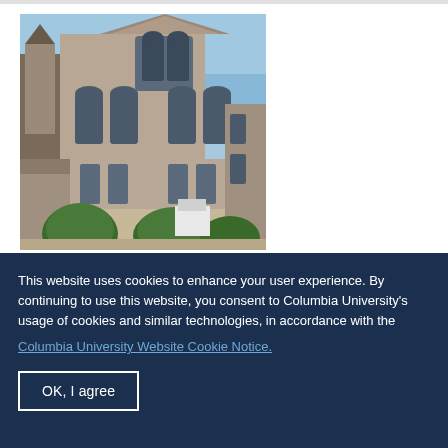[Figure (photo): Exterior photo of Collégiale Notre-Dame-Saint-Laurent d'Eu, showing the Gothic stone façade of the collegiate church with pointed gables, large stained-glass windows, and green topiary bushes in the foreground under a blue sky.]
Collégiale Notre-Dame-Saint-Laurent d'Eu
Exterior, north flank
This website uses cookies to enhance your user experience. By continuing to use this website, you consent to Columbia University's usage of cookies and similar technologies, in accordance with the
Columbia University Website Cookie Notice.
OK, I agree